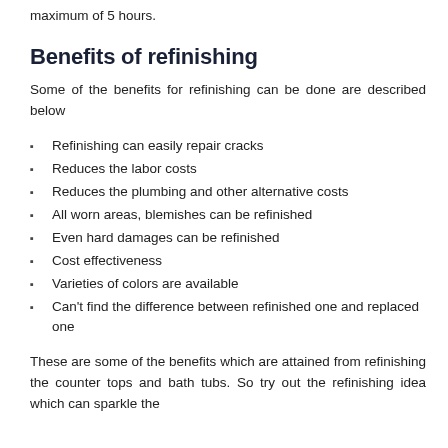maximum of 5 hours.
Benefits of refinishing
Some of the benefits for refinishing can be done are described below
Refinishing can easily repair cracks
Reduces the labor costs
Reduces the plumbing and other alternative costs
All worn areas, blemishes can be refinished
Even hard damages can be refinished
Cost effectiveness
Varieties of colors are available
Can't find the difference between refinished one and replaced one
These are some of the benefits which are attained from refinishing the counter tops and bath tubs. So try out the refinishing idea which can sparkle the